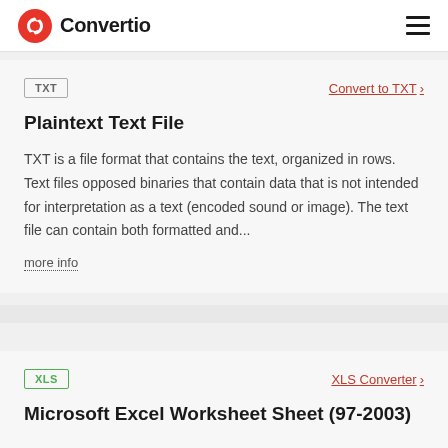Convertio
TXT — Convert to TXT
Plaintext Text File
TXT is a file format that contains the text, organized in rows. Text files opposed binaries that contain data that is not intended for interpretation as a text (encoded sound or image). The text file can contain both formatted and...
more info
XLS — XLS Converter
Microsoft Excel Worksheet Sheet (97-2003)